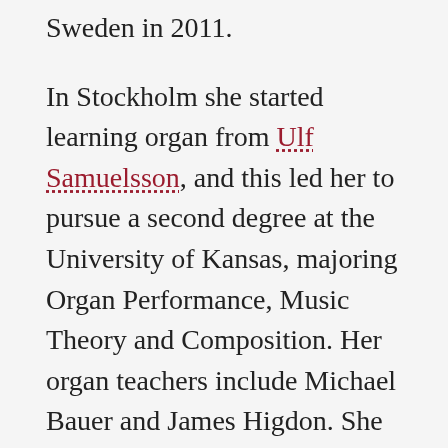Sweden in 2011.
In Stockholm she started learning organ from Ulf Samuelsson, and this led her to pursue a second degree at the University of Kansas, majoring Organ Performance, Music Theory and Composition. Her organ teachers include Michael Bauer and James Higdon. She has received instructions from Karel Paukert, and she has played in masterclasses by David Higgs and Olivier Latry. She has also performed at the Community of Christ Temple in Independence, Missouri. After graduation with distinction from KU in 2016